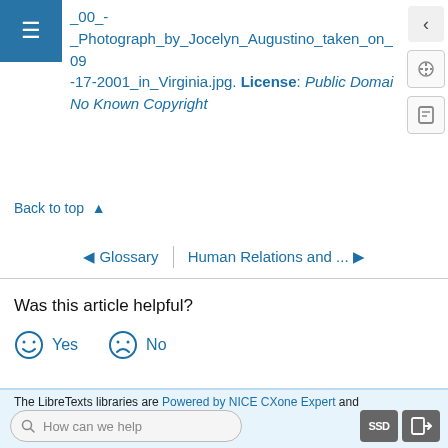_00_-_Photograph_by_Jocelyn_Augustino_taken_on_09-17-2001_in_Virginia.jpg. License: Public Domain – No Known Copyright
Back to top ▲
◄ Glossary | Human Relations and ... ►
Was this article helpful?
☺ Yes   ☹ No
The LibreTexts libraries are Powered by NICE CXone Expert and
How can we help